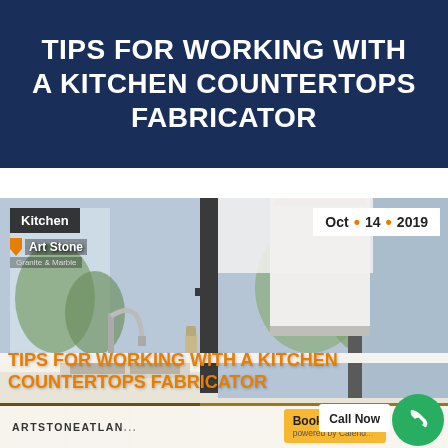TIPS FOR WORKING WITH A KITCHEN COUNTERTOPS FABRICATOR
[Figure (photo): Kitchen interior with modern white countertops, faucet, and large windows. Overlaid with: category label 'Kitchen', Art Stone Granite & Marble logo, date 'Oct • 14 • 2019', orange text title 'TIPS FOR WORKING WITH A KITCHEN COUNTERTOPS FABRICATOR', bottom bar 'ARTSTONEATLAN...', 'Book ... powered by Calend...' button, 'Call Now' button on green circle.]